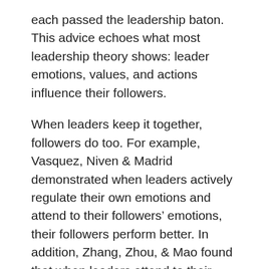each passed the leadership baton. This advice echoes what most leadership theory shows: leader emotions, values, and actions influence their followers.
When leaders keep it together, followers do too. For example, Vasquez, Niven & Madrid demonstrated when leaders actively regulate their own emotions and attend to their followers' emotions, their followers perform better. In addition, Zhang, Zhou, & Mao found that when leaders attend to their followers' emotions by praising moral actions, their followers are more moral in their actions. In other words, leaders establish the workplace culture.
As a young person, I absorbed these words and in all my roles, I have focused on remaining calm in the face of adversity and used this as a guiding principle through